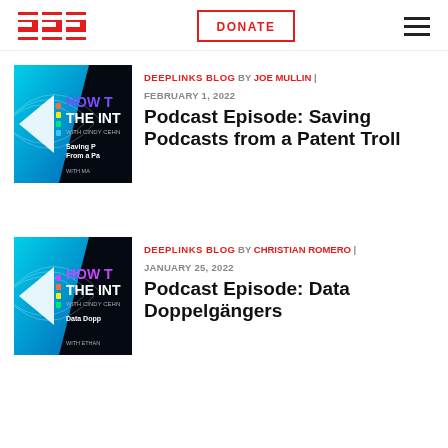EFF | DONATE | menu
[Figure (illustration): How the Internet podcast cover art - Saving Podcasts from a Patent Troll episode, blue/cyan gradient with geometric shapes]
DEEPLINKS BLOG BY JOE MULLIN | FEBRUARY 1, 2022
Podcast Episode: Saving Podcasts from a Patent Troll
[Figure (illustration): How the Internet podcast cover art - Data Doppelgangers episode, blue/cyan gradient with geometric shapes]
DEEPLINKS BLOG BY CHRISTIAN ROMERO | JANUARY 25, 2022
Podcast Episode: Data Doppelgängers